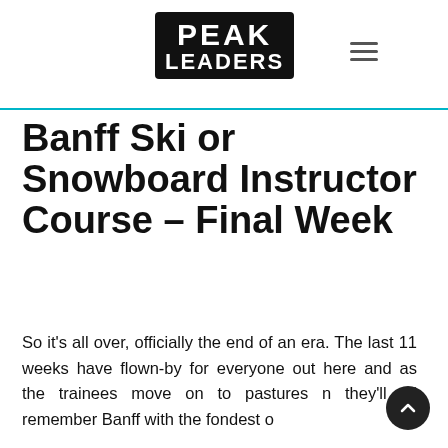PEAK LEADERS
Banff Ski or Snowboard Instructor Course – Final Week
So it's all over, officially the end of an era. The last 11 weeks have flown-by for everyone out here and as the trainees move on to pastures n they'll all remember Banff with the fondest o